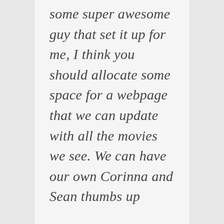some super awesome guy that set it up for me, I think you should allocate some space for a webpage that we can update with all the movies we see. We can have our own Corinna and Sean thumbs up